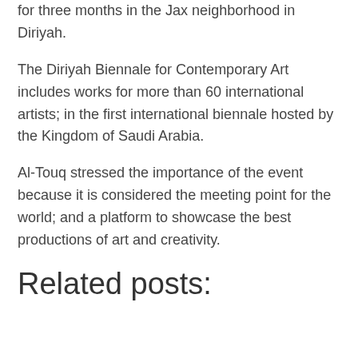for three months in the Jax neighborhood in Diriyah.
The Diriyah Biennale for Contemporary Art includes works for more than 60 international artists; in the first international biennale hosted by the Kingdom of Saudi Arabia.
Al-Touq stressed the importance of the event because it is considered the meeting point for the world; and a platform to showcase the best productions of art and creativity.
Related posts: